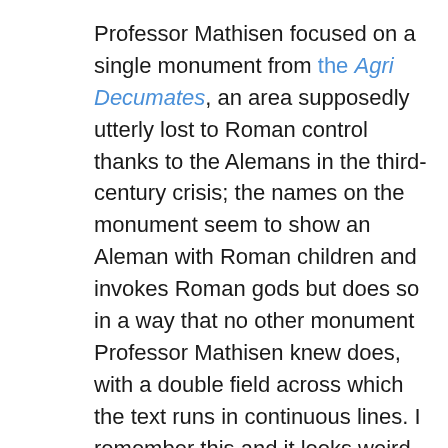Professor Mathisen focused on a single monument from the Agri Decumates, an area supposedly utterly lost to Roman control thanks to the Alemans in the third-century crisis; the names on the monument seem to show an Aleman with Roman children and invokes Roman gods but does so in a way that no other monument Professor Mathisen knew does, with a double field across which the text runs in continuous lines. I remember this and it looks weird—sadly I can't find an image [Edit: but Mark H. can, as witness his comment, thankyou!]—but it's obviously not a rejection of Rome, and there are apparently plenty of other signs of continuity in this area once one accepts that as possible. Conquest obviously wasn't simple here. Chris then looked at the letters of Pope Gregory I, and I will probably remember nothing from this conference as